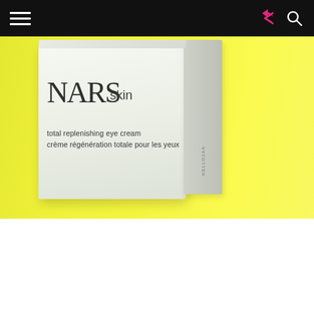[Figure (photo): Navigation bar with hamburger menu on left and share/search icons on right against black background]
[Figure (photo): NARS Skin total replenishing eye cream product box photographed on yellow background. White box shows NARS skin logo and product name in English and French: 'total replenishing eye cream / crème régénération totale pour les yeux'. HELLOJAA watermark visible on side.]